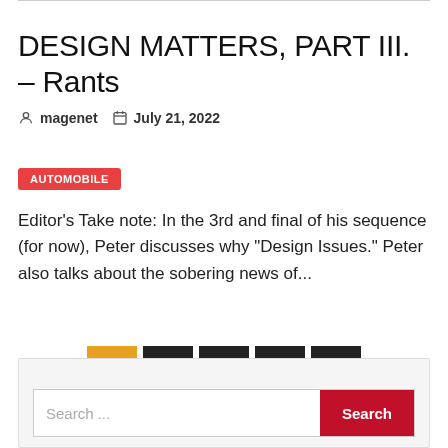DESIGN MATTERS, PART III. – Rants
magenet   July 21, 2022
AUTOMOBILE
Editor's Take note: In the 3rd and final of his sequence (for now), Peter discusses why "Design Issues." Peter also talks about the sobering news of...
1  2  ...  12  Next
Search ...  Search